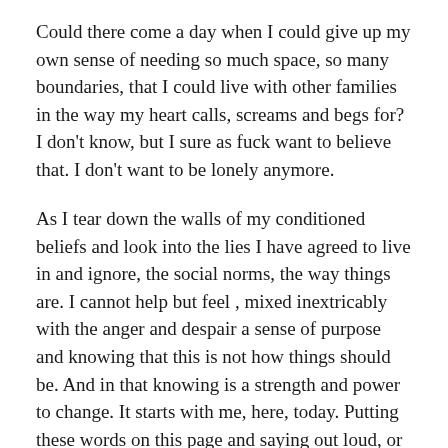Could there come a day when I could give up my own sense of needing so much space, so many boundaries, that I could live with other families in the way my heart calls, screams and begs for? I don't know, but I sure as fuck want to believe that. I don't want to be lonely anymore.
As I tear down the walls of my conditioned beliefs and look into the lies I have agreed to live in and ignore, the social norms, the way things are. I cannot help but feel , mixed inextricably with the anger and despair a sense of purpose and knowing that this is not how things should be. And in that knowing is a strength and power to change. It starts with me, here, today. Putting these words on this page and saying out loud, or in print, that I am longing for something different, and that I am willing to sacrifice to see it come to birth in my life.  If perhaps you who read this feel a tugging in your heart as you read my words I invite you to reach